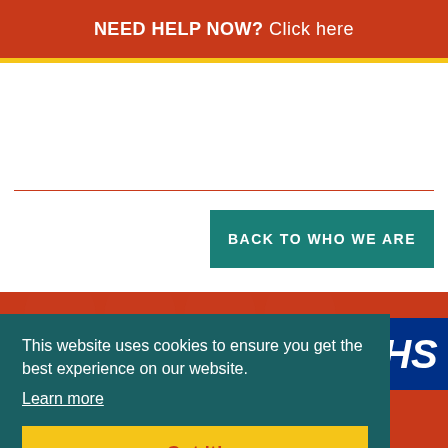NEED HELP NOW? Click here
[Figure (other): White content area with red horizontal divider line]
BACK TO WHO WE ARE
[Figure (logo): NHS logo in blue box with white italic HS text visible]
This website uses cookies to ensure you get the best experience on our website.
Learn more
Got it!
freepho  Show accessibility tools